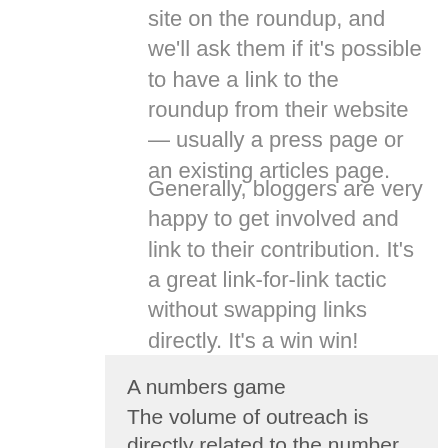site on the roundup, and we'll ask them if it's possible to have a link to the roundup from their website— usually a press page or an existing articles page.
Generally, bloggers are very happy to get involved and link to their contribution. It's a great link-for-link tactic without swapping links directly. It's a win win!
A numbers game
The volume of outreach is directly related to the number of